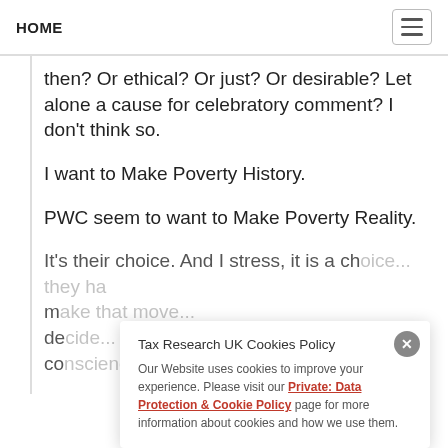HOME
then? Or ethical? Or just? Or desirable? Let alone a cause for celebratory comment? I don't think so.
I want to Make Poverty History.
PWC seem to want to Make Poverty Reality.
It's their choice. And I stress, it is a choice. But when they make that move, and decide to endorse that choice, they have to con science.
Tax Research UK Cookies Policy
Our Website uses cookies to improve your experience. Please visit our Private: Data Protection & Cookie Policy page for more information about cookies and how we use them.